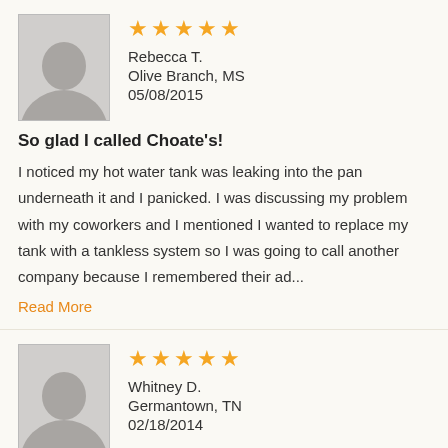[Figure (illustration): Gray placeholder avatar silhouette for Rebecca T.]
★★★★★
Rebecca T.
Olive Branch, MS
05/08/2015
So glad I called Choate's!
I noticed my hot water tank was leaking into the pan underneath it and I panicked. I was discussing my problem with my coworkers and I mentioned I wanted to replace my tank with a tankless system so I was going to call another company because I remembered their ad...
Read More
[Figure (illustration): Gray placeholder avatar silhouette for Whitney D.]
★★★★★
Whitney D.
Germantown, TN
02/18/2014